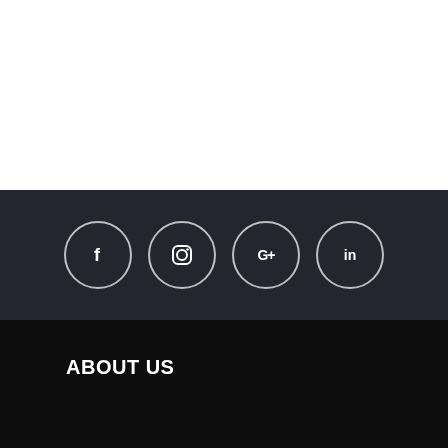[Figure (illustration): White space / top section of webpage screenshot]
[Figure (illustration): Dark grey band with four social media icon circles: Facebook (f), Instagram (camera), Google+ (G+), LinkedIn (in)]
ABOUT US
Eloti Designs excels at custom design and front end development. We love taking on challenging projects that require full-on content strategy, thoughtful design, demanding development, and ongoing
[Figure (illustration): Orange circle phone/call button at bottom left]
[Figure (illustration): Green WhatsApp circle button at bottom right with 'rms' text label visible]